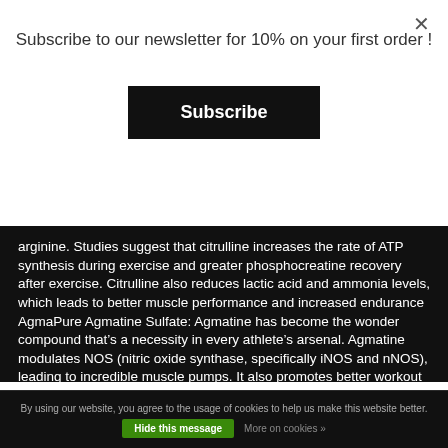Subscribe to our newsletter for 10% on your first order !
Subscribe
arginine. Studies suggest that citrulline increases the rate of ATP synthesis during exercise and greater phosphocreatine recovery after exercise. Citrulline also reduces lactic acid and ammonia levels, which leads to better muscle performance and increased endurance AgmaPure Agmatine Sulfate: Agmatine has become the wonder compound that’s a necessity in every athlete’s arsenal. Agmatine modulates NOS (nitric oxide synthase, specifically iNOS and nNOS), leading to incredible muscle pumps. It also promotes better workout recovery, a healthy hormone balance and supports a healthy stress response.
By using our website, you agree to the usage of cookies to help us make this website better. Hide this message More on cookies »